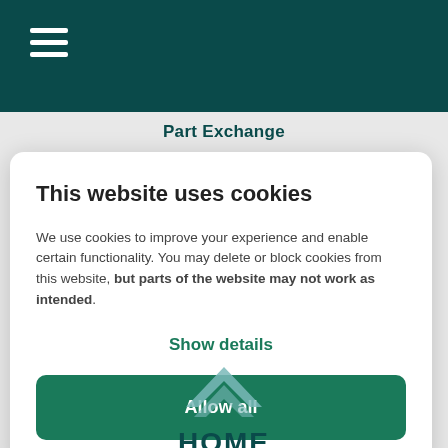Part Exchange
This website uses cookies
We use cookies to improve your experience and enable certain functionality. You may delete or block cookies from this website, but parts of the website may not work as intended.
Show details
Allow all
[Figure (logo): Home Exchange logo with teal chevron/house symbol and 'HOME' text below]
HOME